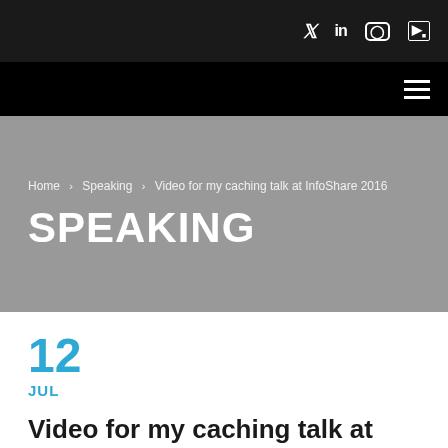Social icons: Twitter, LinkedIn, Instagram, YouTube
Navigation bar with hamburger menu
Home › Speaking › Video for my caching talk at InfoShare 2016
SPEAKING
12
JUL
Video for my caching talk at InfoShare 2016